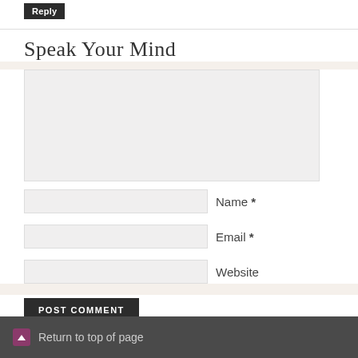Reply
Speak Your Mind
[comment textarea]
Name *
Email *
Website
POST COMMENT
Return to top of page